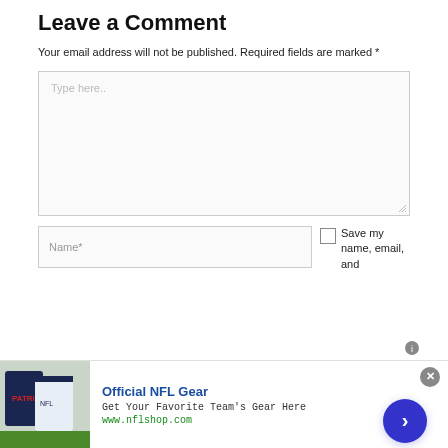Leave a Comment
Your email address will not be published. Required fields are marked *
[Figure (screenshot): Comment text area input box with placeholder text 'Type here..' and resize handle at bottom right]
[Figure (screenshot): Name* text input field and Save my name, email, and checkbox section]
[Figure (infographic): Advertisement banner for Official NFL Gear showing jerseys image, bold blue title 'Official NFL Gear', subtitle 'Get Your Favorite Team's Gear Here', URL www.nflshop.com, close button and blue arrow next button]